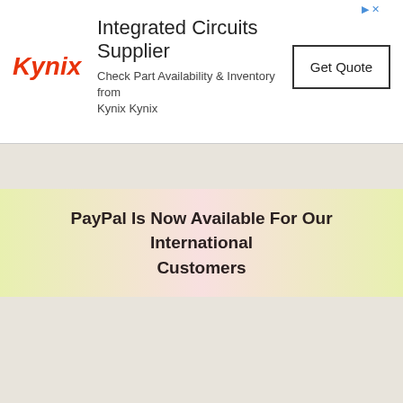[Figure (other): Kynix advertisement banner. Logo text 'Kynix' in red italic, ad title 'Integrated Circuits Supplier', subtitle 'Check Part Availability & Inventory from Kynix Kynix', and a 'Get Quote' button.]
PayPal Is Now Available For Our International Customers